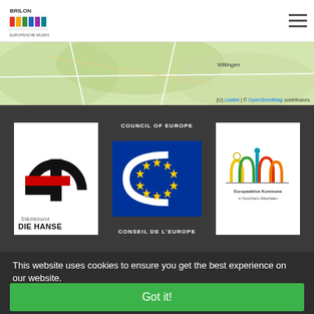[Figure (logo): Brilon city logo with colorful hands and text]
[Figure (map): OpenStreetMap map strip showing region near Willingen with Leaflet attribution]
[Figure (logo): Städtebund DIE HANSE logo - black and white with red stripe]
[Figure (logo): Council of Europe / Conseil de l'Europe logo - blue background with yellow star circle]
[Figure (logo): Europaaktive Kommune in Nordrhein-Westfalen logo with colorful house icons]
This website uses cookies to ensure you get the best experience on our website.
Got it!